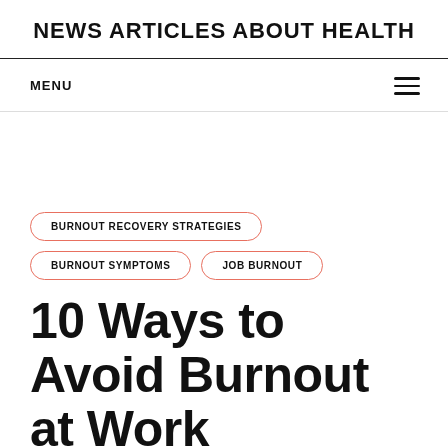NEWS ARTICLES ABOUT HEALTH
MENU
BURNOUT RECOVERY STRATEGIES
BURNOUT SYMPTOMS
JOB BURNOUT
10 Ways to Avoid Burnout at Work